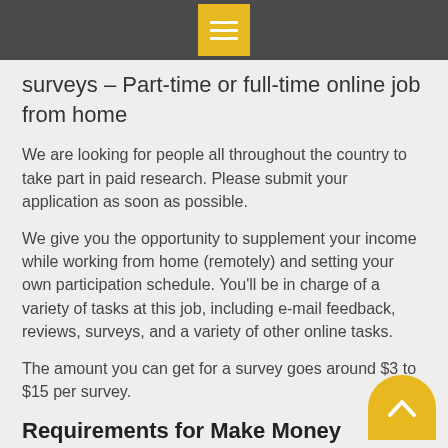surveys – Part-time or full-time online job from home
We are looking for people all throughout the country to take part in paid research. Please submit your application as soon as possible.
We give you the opportunity to supplement your income while working from home (remotely) and setting your own participation schedule. You'll be in charge of a variety of tasks at this job, including e-mail feedback, reviews, surveys, and a variety of other online tasks.
The amount you can get for a survey goes around $3 to $15 per survey.
Requirements for Make Money Quickly From Home